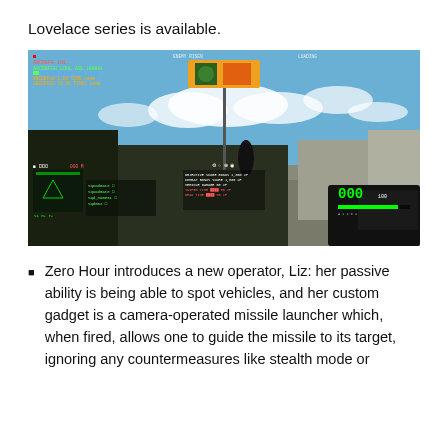Lovelace series is available.
[Figure (screenshot): First-person shooter game screenshot showing an outdoor military environment with HUD elements including a minimap, squad list, objective information, ammo counter displaying '000', and green UI elements. A player character is visible in the distance near concrete barriers.]
Zero Hour introduces a new operator, Liz: her passive ability is being able to spot vehicles, and her custom gadget is a camera-operated missile launcher which, when fired, allows one to guide the missile to its target, ignoring any countermeasures like stealth mode or